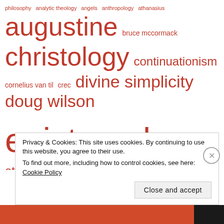[Figure (infographic): Tag cloud of theological and philosophical topics in varying font sizes, all in red/dark red color. Terms include: philosophy, analytic theology, angels, anthropology, athanasius, augustine, bruce mccormack, christology, continuationism, cornelius van til, crec, divine simplicity, doug wilson, epistemology, ethics, free will, gary north, hegel, hellenism, humor, immanuel kant, j p moreland, justification, karl barth, martin heidegger, maximos the confessor, metaphysics, neo calvinism, new world order, occult, oliver o'donovan, outlines, samuel rutherford, sex, soul, thomas aquinas, thomas torrance, trinity]
Privacy & Cookies: This site uses cookies. By continuing to use this website, you agree to their use. To find out more, including how to control cookies, see here: Cookie Policy
Close and accept